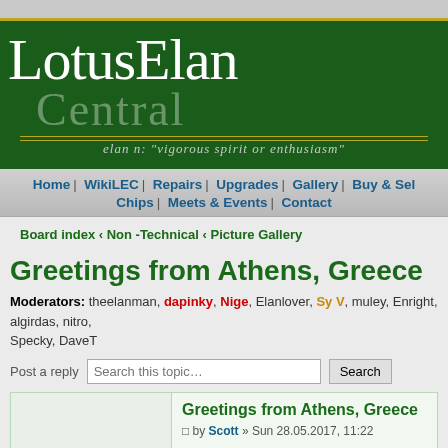[Figure (logo): LotusElan Central website header banner with dark green background, white serif text 'LotusElan' and lighter 'Central', with tagline: elan n: "vigorous spirit or enthusiasm"]
Home | WikiLEC | Repairs | Upgrades | Gallery | Buy & Sell | Chips | Meets & Events | Contact
Board index « Non -Technical « Picture Gallery
Greetings from Athens, Greece
Moderators: theelanman, dapinky, Nige, Elanlover, Sy V, muley, Enright, algirdas, nitro, Specky, DaveT
Post a reply
Greetings from Athens, Greece
by Scott » Sun 28.05.2017, 11:22